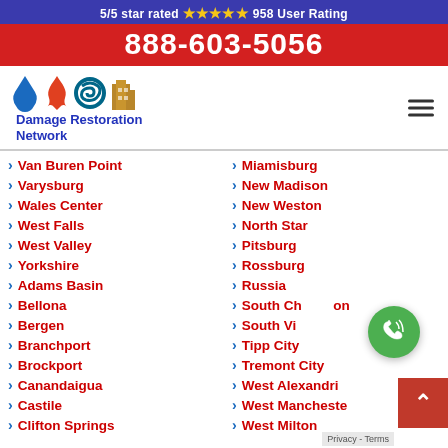5/5 star rated ⭐⭐⭐⭐⭐ 958 User Rating
888-603-5056
[Figure (logo): Damage Restoration Network logo with water drop, fire, hurricane, and building icons]
Van Buren Point
Varysburg
Wales Center
West Falls
West Valley
Yorkshire
Adams Basin
Bellona
Bergen
Branchport
Brockport
Canandaigua
Castile
Clifton Springs
Miamisburg
New Madison
New Weston
North Star
Pitsburg
Rossburg
Russia
South Charleston
South Vienna
Tipp City
Tremont City
West Alexandria
West Manchester
West Milton
Privacy - Terms